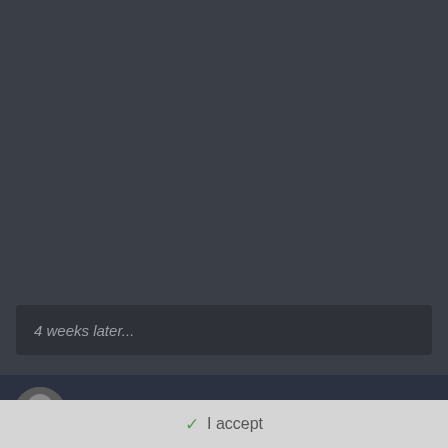4 weeks later...
tndank
Important Information
Terms of Use https://themeparkreview.com/forum/topic/116-terms-of-service-please-read/
✓  I accept